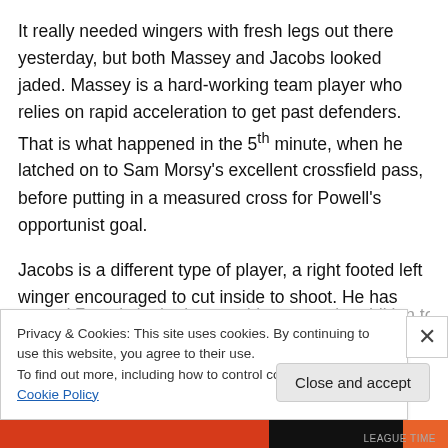It really needed wingers with fresh legs out there yesterday, but both Massey and Jacobs looked jaded. Massey is a hard-working team player who relies on rapid acceleration to get past defenders. That is what happened in the 5th minute, when he latched on to Sam Morsy's excellent crossfield pass, before putting in a measured cross for Powell's opportunist goal.
Jacobs is a different type of player, a right footed left winger encouraged to cut inside to shoot. He has already scored 7 goals in the league this season in addition to
Privacy & Cookies: This site uses cookies. By continuing to use this website, you agree to their use.
To find out more, including how to control cookies, see here: Cookie Policy